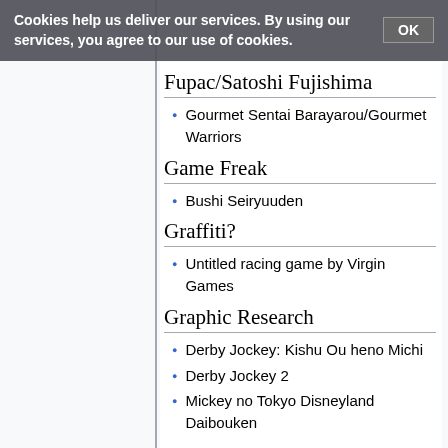Cookies help us deliver our services. By using our services, you agree to our use of cookies. OK
Fupac/Satoshi Fujishima
Gourmet Sentai Barayarou/Gourmet Warriors
Game Freak
Bushi Seiryuuden
Graffiti?
Untitled racing game by Virgin Games
Graphic Research
Derby Jockey: Kishu Ou heno Michi
Derby Jockey 2
Mickey no Tokyo Disneyland Daibouken